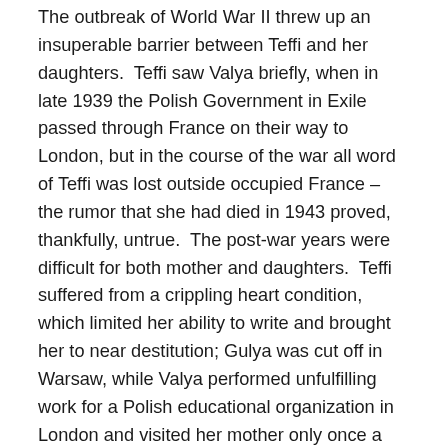The outbreak of World War II threw up an insuperable barrier between Teffi and her daughters. Teffi saw Valya briefly, when in late 1939 the Polish Government in Exile passed through France on their way to London, but in the course of the war all word of Teffi was lost outside occupied France – the rumor that she had died in 1943 proved, thankfully, untrue. The post-war years were difficult for both mother and daughters. Teffi suffered from a crippling heart condition, which limited her ability to write and brought her to near destitution; Gulya was cut off in Warsaw, while Valya performed unfulfilling work for a Polish educational organization in London and visited her mother only once a year during her two-week vacation. The correspondence among the three women (mostly Teffi's letters to Valya have survived) suggests, however, that their mutual support and affection offered great consolation. Perhaps inevitably, Teffi developed the closest relations with nearby Valya, their letters testifying to their devotion and revealing aspects of Teffi's character